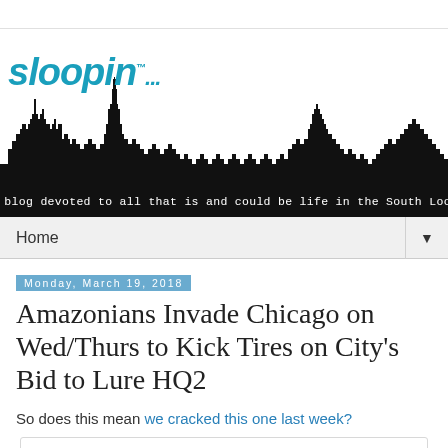[Figure (logo): Sloopin blog logo with italic blue text and Chicago skyline silhouette with tagline]
Home
Monday, March 19, 2018
Amazonians Invade Chicago on Wed/Thurs to Kick Tires on City's Bid to Lure HQ2
So does this mean we cracked this one last week?